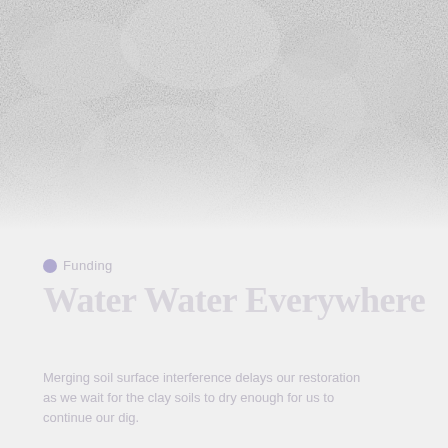[Figure (photo): Mottled light gray textured background image filling the top portion of the page, resembling a weathered or wet surface.]
Funding
Water Water Everywhere
Merging soil surface interference delays our restoration as we wait for the clay soils to dry enough for us to continue our dig.